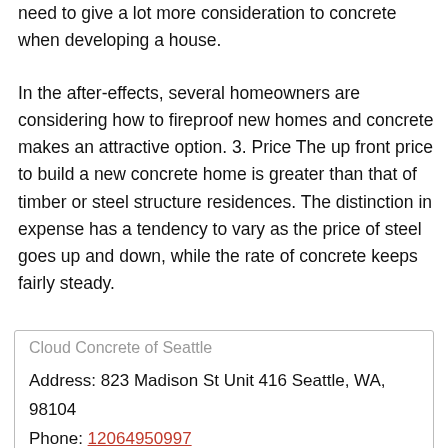need to give a lot more consideration to concrete when developing a house.
In the after-effects, several homeowners are considering how to fireproof new homes and concrete makes an attractive option. 3. Price The up front price to build a new concrete home is greater than that of timber or steel structure residences. The distinction in expense has a tendency to vary as the price of steel goes up and down, while the rate of concrete keeps fairly steady.
Cloud Concrete of Seattle
Address: 823 Madison St Unit 416 Seattle, WA, 98104
Phone: 12064950997